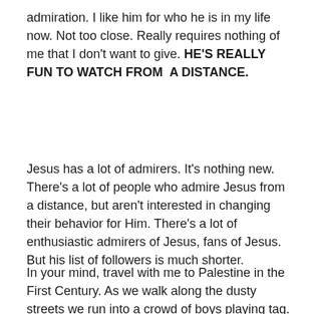admiration. I like him for who he is in my life now. Not too close. Really requires nothing of me that I don't want to give. HE'S REALLY FUN TO WATCH FROM A DISTANCE.
Jesus has a lot of admirers. It's nothing new. There's a lot of people who admire Jesus from a distance, but aren't interested in changing their behavior for Him. There's a lot of enthusiastic admirers of Jesus, fans of Jesus. But his list of followers is much shorter.
In your mind, travel with me to Palestine in the First Century. As we walk along the dusty streets we run into a crowd of boys playing tag. One in particular is of interest.